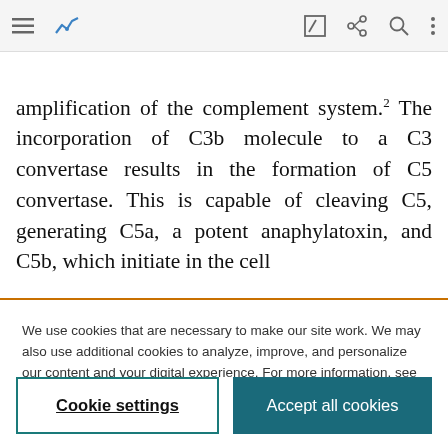[navigation bar with menu, chart, edit, share, search, more icons]
amplification of the complement system.² The incorporation of C3b molecule to a C3 convertase results in the formation of C5 convertase. This is capable of cleaving C5, generating C5a, a potent anaphylatoxin, and C5b, which initiate in the cell
We use cookies that are necessary to make our site work. We may also use additional cookies to analyze, improve, and personalize our content and your digital experience. For more information, see our Cookie Policy
Cookie settings
Accept all cookies